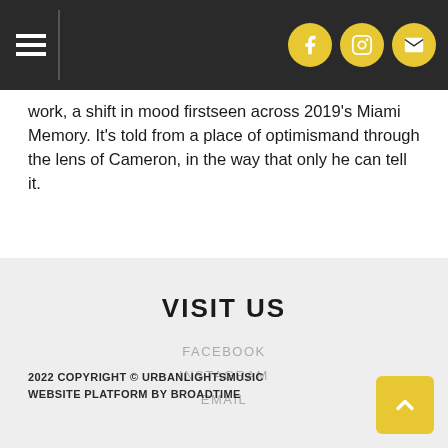[Navigation bar with hamburger menu and social icons: Facebook, Instagram, Email]
work, a shift in mood firstseen across 2019's Miami Memory. It's told from a place of optimismand through the lens of Cameron, in the way that only he can tell it.
VISIT US
FACEBOOK
INSTAGRAM
EMAIL
2022 COPYRIGHT © URBANLIGHTSMUSIC
WEBSITE PLATFORM BY BROADTIME